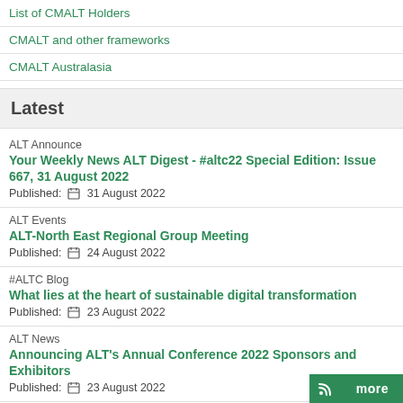List of CMALT Holders
CMALT and other frameworks
CMALT Australasia
Latest
ALT Announce
Your Weekly News ALT Digest - #altc22 Special Edition: Issue 667, 31 August 2022
Published:  31 August 2022
ALT Events
ALT-North East Regional Group Meeting
Published:  24 August 2022
#ALTC Blog
What lies at the heart of sustainable digital transformation
Published:  23 August 2022
ALT News
Announcing ALT's Annual Conference 2022 Sponsors and Exhibitors
Published:  23 August 2022